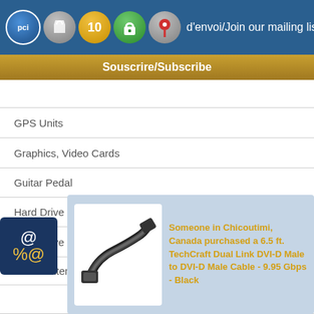d'envoi/Join our mailing list
Souscrire/Subscribe
GPS Units
Graphics, Video Cards
Guitar Pedal
Hard Drive
Hard Drive Enclosures & Mounts
HDMI Extender
HDMI Keystone
HDMI Switches
HDT
Hea
Ha
Headsets
[Figure (screenshot): Purchase notification popup showing a DVI cable image and text: Someone in Chicoutimi, Canada purchased a 6.5 ft. TechCraft Dual Link DVI-D Male to DVI-D Male Cable - 9.95 Gbps - Black]